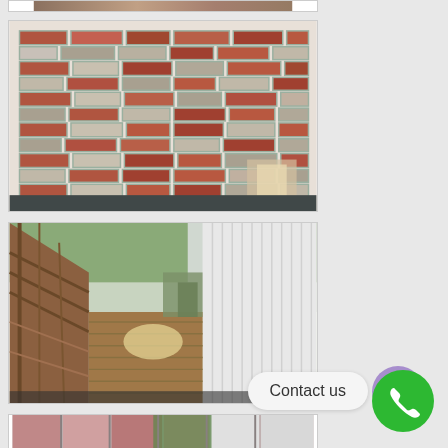[Figure (photo): Partially visible photo at top of page, appears to show a building exterior]
[Figure (photo): Photo of a brick wall with red and gray bricks, partially installed or damaged corner section visible]
[Figure (photo): Photo of a wooden deck/walkway alongside a white corrugated metal siding wall, with wooden railing on the left]
[Figure (photo): Partially visible photo at bottom showing exterior siding in pink/mauve and white colors]
Contact us